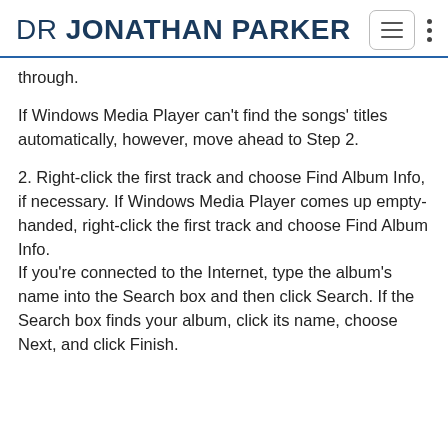DR JONATHAN PARKER
through.
If Windows Media Player can't find the songs' titles automatically, however, move ahead to Step 2.
2. Right-click the first track and choose Find Album Info, if necessary. If Windows Media Player comes up empty-handed, right-click the first track and choose Find Album Info.
If you're connected to the Internet, type the album's name into the Search box and then click Search. If the Search box finds your album, click its name, choose Next, and click Finish.